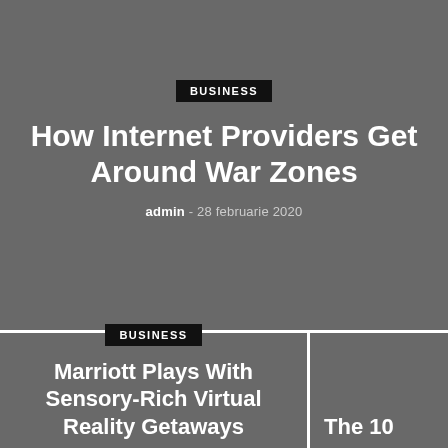BUSINESS
How Internet Providers Get Around War Zones
admin - 28 februarie 2020
BUSINESS
Marriott Plays With Sensory-Rich Virtual Reality Getaways
The 10